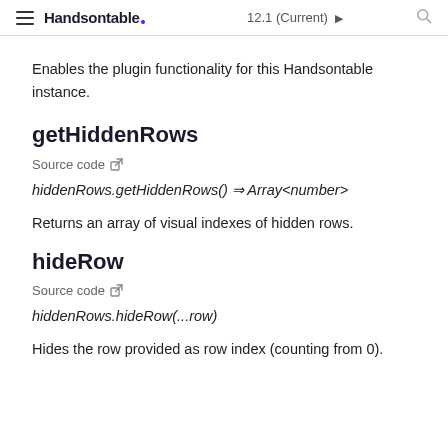Handsontable  12.1 (Current) ▶
Enables the plugin functionality for this Handsontable instance.
getHiddenRows
Source code
hiddenRows.getHiddenRows() ⇒ Array<number>
Returns an array of visual indexes of hidden rows.
hideRow
Source code
hiddenRows.hideRow(...row)
Hides the row provided as row index (counting from 0).